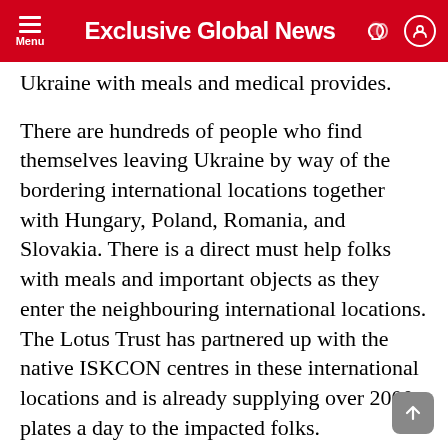Exclusive Global News
Ukraine with meals and medical provides.
There are hundreds of people who find themselves leaving Ukraine by way of the bordering international locations together with Hungary, Poland, Romania, and Slovakia. There is a direct must help folks with meals and important objects as they enter the neighbouring international locations. The Lotus Trust has partnered up with the native ISKCON centres in these international locations and is already supplying over 2000 plates a day to the impacted folks.
Our instant focus is to scale the meals distribution on the Hungarian and Romanian borders to 10,000 meals a day and help the exercise of the Ukrainian